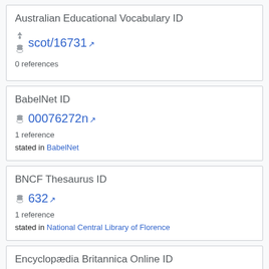Australian Educational Vocabulary ID
scot/16731
0 references
BabelNet ID
00076272n
1 reference
stated in BabelNet
BNCF Thesaurus ID
632
1 reference
stated in National Central Library of Florence
Encyclopædia Britannica Online ID
topic/biscuit-food